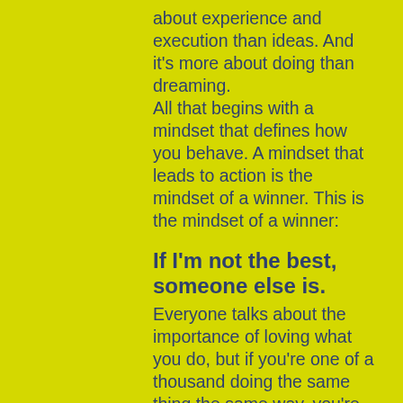about experience and execution than ideas. And it's more about doing than dreaming. All that begins with a mindset that defines how you behave. A mindset that leads to action is the mindset of a winner. This is the mindset of a winner:
If I'm not the best, someone else is.
Everyone talks about the importance of loving what you do, but if you're one of a thousand doing the same thing the same way, you're not going to love the result. Being passionate about what you do is a good start. But it's just that, a start. To finish a winner, you need to be the best at what you do.